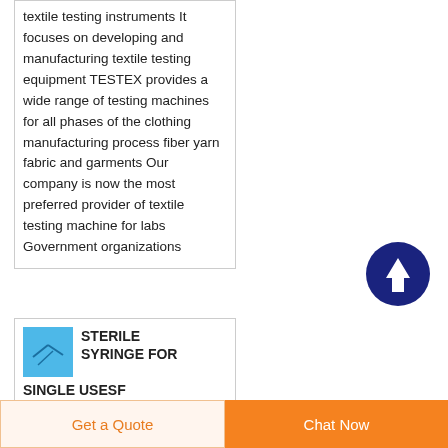textile testing instruments It focuses on developing and manufacturing textile testing equipment TESTEX provides a wide range of testing machines for all phases of the clothing manufacturing process fiber yarn fabric and garments Our company is now the most preferred provider of textile testing machine for labs Government organizations
[Figure (other): Dark navy blue circle button with a white upward arrow icon — scroll-to-top button]
[Figure (photo): Small blue thumbnail image for a product listing (sterile syringe)]
STERILE SYRINGE FOR SINGLE USESF
Get a Quote   Chat Now